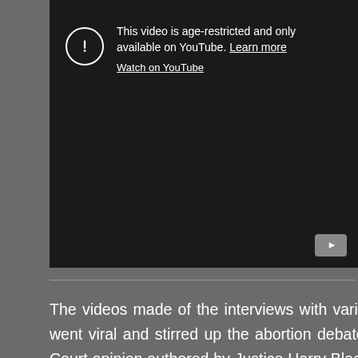[Figure (screenshot): YouTube age-restricted video embed showing a dark background with an exclamation icon in a circle, the message 'This video is age-restricted and only available on YouTube. Learn more' and a 'Watch on YouTube' link, with a YouTube play button logo in the bottom-right corner.]
The videos made of the interviews with various Planned Parenthood representatives and former employees went viral and stirred up the abortion debate with new vigor in 2015, some 42 years after the US Supreme Court opinion authored by Justice Harry Blackman made abortion legal in all 50 states. As always, the debate usually focuses on the fetuses (or unborn babies, depending on what side of choice or life you stand).